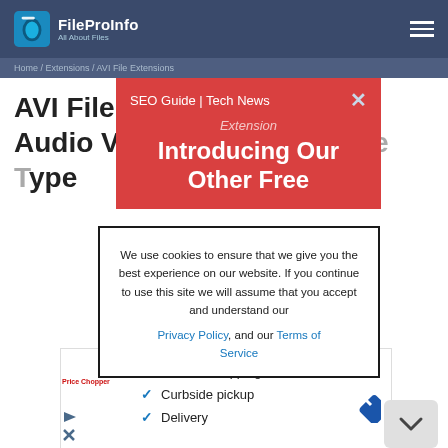FileProInfo — All About Files
Home / Extensions / AVI File Extensions
AVI File Extension — Audio Video Interleaved File Type
[Figure (screenshot): Red promotional popup banner showing: SEO Guide | Tech News — Introducing Our Other Free]
[Figure (screenshot): Cookie consent modal: We use cookies to ensure that we give you the best experience on our website. If you continue to use this site we will assume that you accept and understand our Privacy Policy, and our Terms of Service]
[Figure (screenshot): Advertisement banner with checklist: In-store shopping, Curbside pickup, Delivery — with navigation/map app icon]
We use cookies to ensure that we give you the best experience on our website. If you continue to use this site we will assume that you accept and understand our Privacy Policy, and our Terms of Service